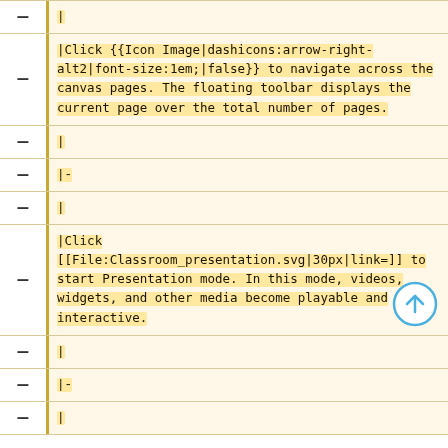|
|Click {{Icon Image|dashicons:arrow-right-alt2|font-size:1em;|false}} to navigate across the canvas pages. The floating toolbar displays the current page over the total number of pages.
|
|-
|
|Click [[File:Classroom_presentation.svg|30px|link=]] to start Presentation mode. In this mode, videos, widgets, and other media become playable and interactive.
|
|-
|